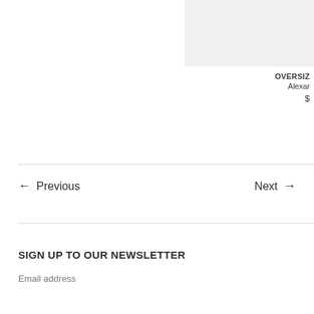[Figure (photo): Product image placeholder — light grey rectangle]
OVERSIZ
Alexar
$
← Previous
Next →
SIGN UP TO OUR NEWSLETTER
Email address